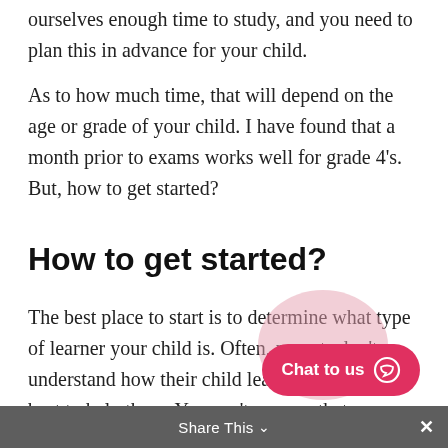ourselves enough time to study, and you need to plan this in advance for your child.
As to how much time, that will depend on the age or grade of your child. I have found that a month prior to exams works well for grade 4's. But, how to get started?
How to get started?
The best place to start is to determine what type of learner your child is. Often, parents don't understand how their child learns or know how best to help them. You can't assume that your child learns the way you do. You need to determine whether your